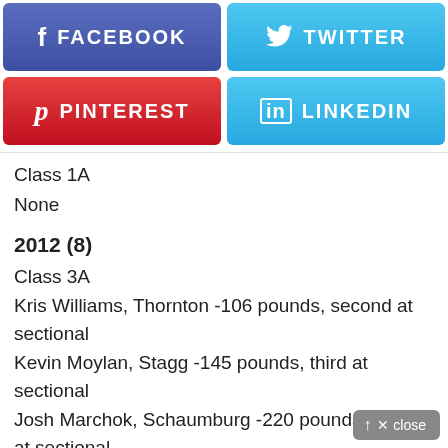[Figure (infographic): Social media share buttons: Facebook (blue-purple), Twitter (light blue), Pinterest (red), LinkedIn (light blue)]
Class 1A
None
2012 (8)
Class 3A
Kris Williams, Thornton -106 pounds, second at sectional
Kevin Moylan, Stagg -145 pounds, third at sectional
Josh Marchok, Schaumburg -220 pounds, second at sectional
Class 2A